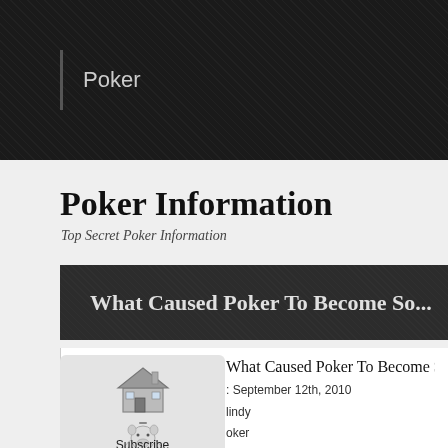Poker
Poker Information
Top Secret Poker Information
What Caused Poker To Become So...
What Caused Poker To Become So Popular in
September 12th, 2010
cindy
Poker
nas always been played in homes in the Great britain the immense recognition that it does currently. So w Uk these days?
you can find three reasons for this increased pop
[Figure (illustration): Home icon with house illustration above 'Home' navigation label]
[Figure (illustration): Pig character illustration above 'Subscribe' navigation label]